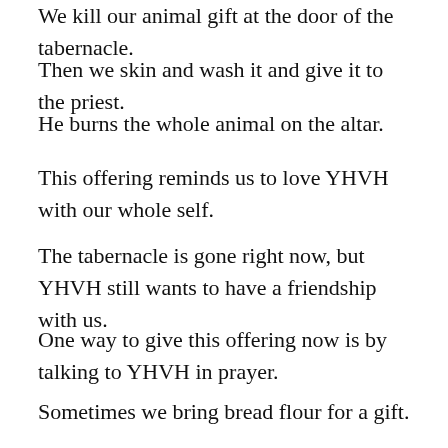We kill our animal gift at the door of the tabernacle.
Then we skin and wash it and give it to the priest.
He burns the whole animal on the altar.
This offering reminds us to love YHVH with our whole self.
The tabernacle is gone right now, but YHVH still wants to have a friendship with us.
One way to give this offering now is by talking to YHVH in prayer.
Sometimes we bring bread flour for a gift.
We pour sweet smelling oil on it.
The priest takes half of that as a gift for YHVH…